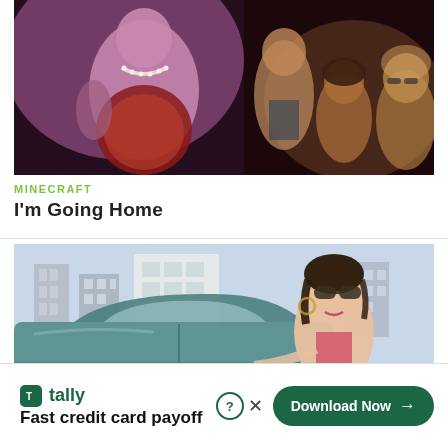[Figure (photo): Stage performance scene with a performer in pink/purple lighting wearing a pearl necklace and sequined outfit, with three other people visible in the background]
MINECRAFT
I'm Going Home
[Figure (illustration): Animated/illustrated scene of a stylized woman with dark hair and large sunglasses standing next to a teal car, with city buildings in the background]
[Figure (infographic): Advertisement banner: Tally logo with text 'Fast credit card payoff' and a 'Download Now' button with arrow, plus help (?) and close (X) buttons]